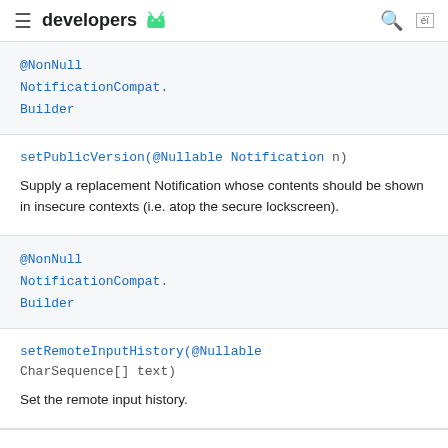developers
@NonNull NotificationCompat.Builder
setPublicVersion(@Nullable Notification n)
Supply a replacement Notification whose contents should be shown in insecure contexts (i.e. atop the secure lockscreen).
@NonNull NotificationCompat.Builder
setRemoteInputHistory(@Nullable CharSequence[] text)
Set the remote input history.